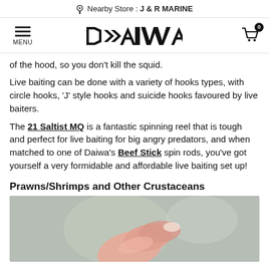Nearby Store : J & R MARINE
MENU [DAIWA logo] [cart icon 0]
of the hood, so you don't kill the squid.
Live baiting can be done with a variety of hooks types, with circle hooks, 'J' style hooks and suicide hooks favoured by live baiters.
The 21 Saltist MQ is a fantastic spinning reel that is tough and perfect for live baiting for big angry predators, and when matched to one of Daiwa's Beef Stick spin rods, you've got yourself a very formidable and affordable live baiting set up!
Prawns/Shrimps and Other Crustaceans
[Figure (photo): Close-up photo of fingers/hand holding what appears to be a prawn or shrimp bait, pinkish color against a grey/green background.]